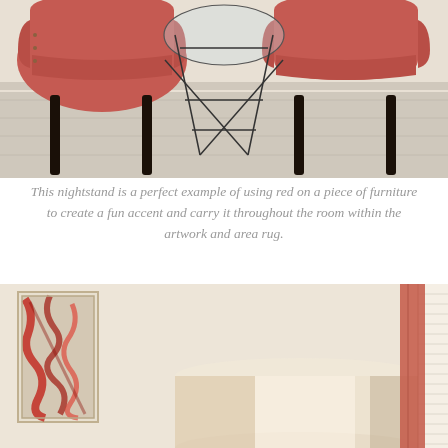[Figure (photo): Two red/coral upholstered chairs with dark legs around a geometric wire-frame side table on a light wood floor]
This nightstand is a perfect example of using red on a piece of furniture to create a fun accent and carry it throughout the room within the artwork and area rug.
[Figure (photo): Interior room scene showing a large cylindrical lamp shade, a red abstract painting on the wall, window blinds, and a coral/terracotta curtain]